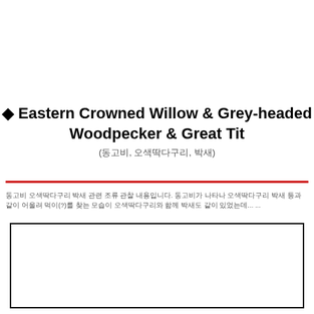◆ Eastern Crowned Willow & Grey-headed Woodpecker & Great Tit (동고비, 오색딱다구리, 박새)
동고비 오색딱다구리 박새 관련 조류 관찰 내용입니다. 동고비가 나타나 오색딱다구리 박새 등과 같이 어울려 먹이(?)를 찾는 모습이 오색딱다구리와 함께 박새도 같이 있었는데... ...
[Figure (photo): A bordered white rectangle (image placeholder) at the bottom portion of the page]